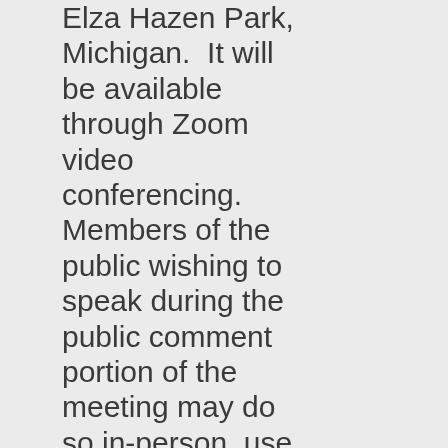Elza Hazen Park, Michigan.  It will be available through Zoom video conferencing.  Members of the public wishing to speak during the public comment portion of the meeting may do so in-person, use Zoom "chat" during the Public Comment portions of the meeting or by emailing Board President, Laura Albinson to